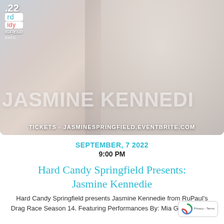[Figure (photo): Promotional photo of Jasmine Kennedie with large curly blonde hair, wearing a pink glitter bikini top and jeans, posed against a light background. Text overlay reads 'JASMINE KENNEDIE' and 'TICKETS - JASMINESPRINGFIELD.EVENTBRITE.COM'. Hard Candy Springfield logo in top left corner.]
SEPTEMBER, 7 2022
9:00 PM
Hard Candy Springfield Presents: Jasmine Kennedie
Hard Candy Springfield presents Jasmine Kennedie from RuPaul's Drag Race Season 14. Featuring Performances By: Mia Gunn Mornett